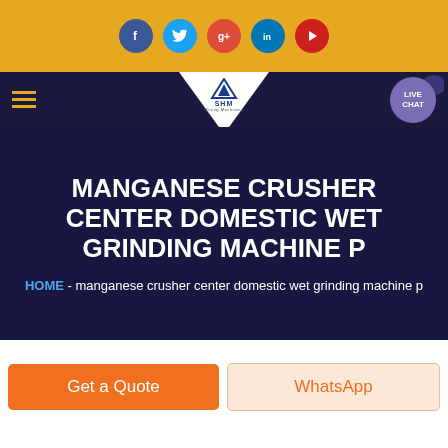[Figure (screenshot): Top navigation bar with golden background showing social media icons: Facebook (blue), Twitter (blue), Google+ (red), LinkedIn (blue), YouTube (red)]
[Figure (screenshot): Navigation bar with hamburger menu, SHM logo (white triangle with logo text), and Live Chat button on dark navy background]
MANGANESE CRUSHER CENTER DOMESTIC WET GRINDING MACHINE P
HOME - manganese crusher center domestic wet grinding machine p
Get a Quote
WhatsApp